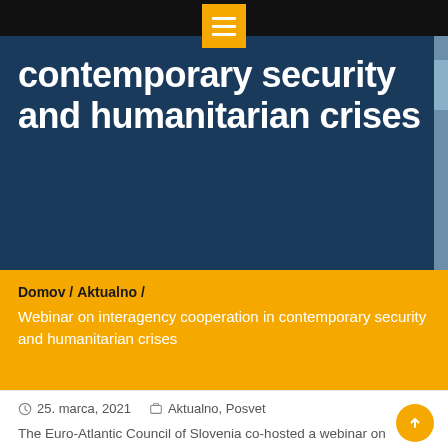[Figure (screenshot): Dark blue hero banner with white bold text reading 'contemporary security and humanitarian crises', with a black top navigation bar and a yellow hamburger menu icon]
contemporary security and humanitarian crises
Domov / Aktualno / Webinar on interagency cooperation in contemporary security and humanitarian crises
25. marca, 2021   Aktualno, Posvet
The Euro-Atlantic Council of Slovenia co-hosted a webinar on interagency cooperation in contemporary security and humanitarian crises together with Joint